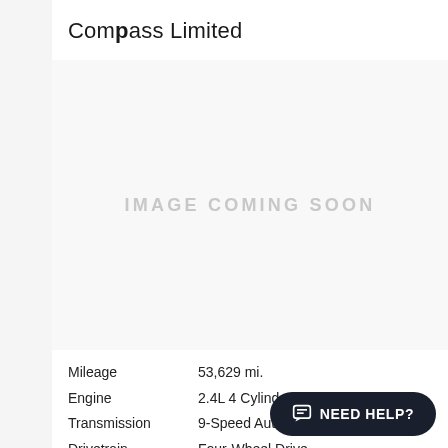Compass Limited
[Figure (other): Image placeholder with text IMAGE COMING SOON on a light grey background]
Mileage   53,629 mi.
Engine   2.4L 4 Cylinder
Transmission   9-Speed Automatic
Drivetrain   Four-Wheel Drive